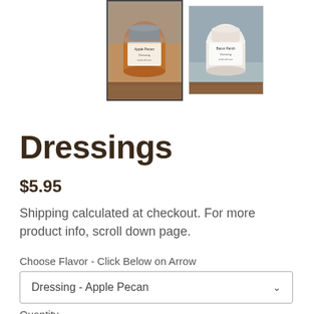[Figure (photo): Two jar thumbnails of dressings — left jar shows Apple Pecan dressing (brown/amber colored), right jar shows Bacon Ranch dressing (white/cream colored), photographed on a wooden surface with rustic background.]
Dressings
$5.95
Shipping calculated at checkout. For more product info, scroll down page.
Choose Flavor - Click Below on Arrow
Dressing - Apple Pecan
Quantity